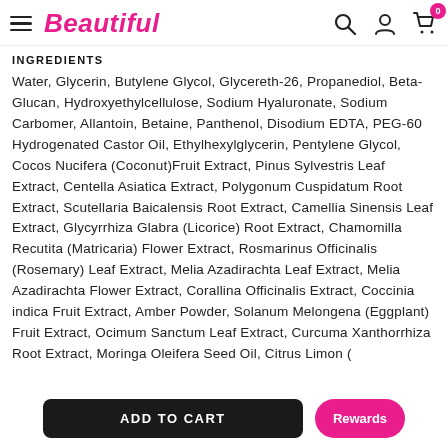Beautiful
INGREDIENTS
Water, Glycerin, Butylene Glycol, Glycereth-26, Propanediol, Beta-Glucan, Hydroxyethylcellulose, Sodium Hyaluronate, Sodium Carbomer, Allantoin, Betaine, Panthenol, Disodium EDTA, PEG-60 Hydrogenated Castor Oil, Ethylhexylglycerin, Pentylene Glycol, Cocos Nucifera (Coconut)Fruit Extract, Pinus Sylvestris Leaf Extract, Centella Asiatica Extract, Polygonum Cuspidatum Root Extract, Scutellaria Baicalensis Root Extract, Camellia Sinensis Leaf Extract, Glycyrrhiza Glabra (Licorice) Root Extract, Chamomilla Recutita (Matricaria) Flower Extract, Rosmarinus Officinalis (Rosemary) Leaf Extract, Melia Azadirachta Leaf Extract, Melia Azadirachta Flower Extract, Corallina Officinalis Extract, Coccinia indica Fruit Extract, Amber Powder, Solanum Melongena (Eggplant) Fruit Extract, Ocimum Sanctum Leaf Extract, Curcuma Xanthorrhiza Root Extract, Moringa Oleifera Seed Oil, Citrus Limon (L...